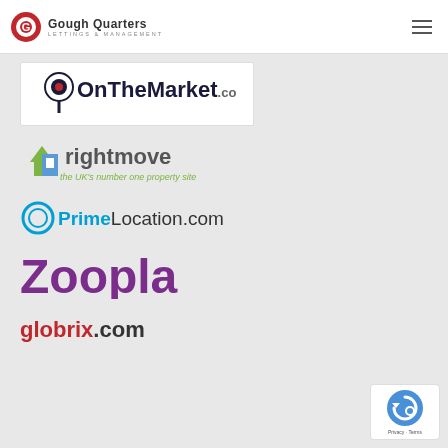Gough Quarters Lettings & Management
[Figure (logo): OnTheMarket.com logo in white box]
[Figure (logo): Rightmove logo - the UK's number one property site]
[Figure (logo): PrimeLocation.com logo]
[Figure (logo): Zoopla logo in purple]
[Figure (logo): globrix.com logo]
[Figure (logo): reCAPTCHA badge bottom right]